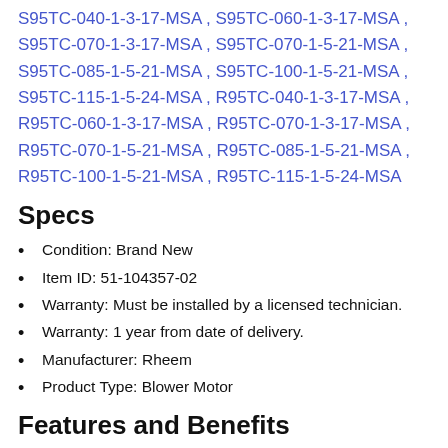S95TC-040-1-3-17-MSA , S95TC-060-1-3-17-MSA , S95TC-070-1-3-17-MSA , S95TC-070-1-5-21-MSA , S95TC-085-1-5-21-MSA , S95TC-100-1-5-21-MSA , S95TC-115-1-5-24-MSA , R95TC-040-1-3-17-MSA , R95TC-060-1-3-17-MSA , R95TC-070-1-3-17-MSA , R95TC-070-1-5-21-MSA , R95TC-085-1-5-21-MSA , R95TC-100-1-5-21-MSA , R95TC-115-1-5-24-MSA
Specs
Condition: Brand New
Item ID: 51-104357-02
Warranty: Must be installed by a licensed technician.
Warranty: 1 year from date of delivery.
Manufacturer: Rheem
Product Type: Blower Motor
Features and Benefits